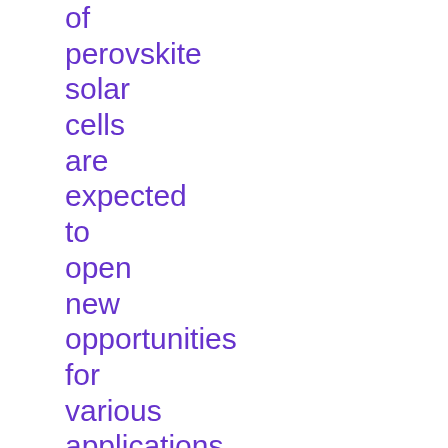of perovskite solar cells are expected to open new opportunities for various applications of solar cell. Currently, the common